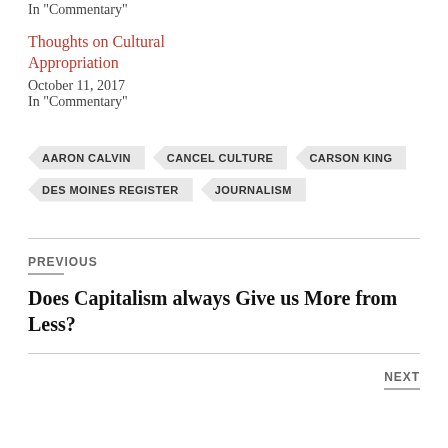In "Commentary"
Thoughts on Cultural Appropriation
October 11, 2017
In "Commentary"
AARON CALVIN
CANCEL CULTURE
CARSON KING
DES MOINES REGISTER
JOURNALISM
PREVIOUS
Does Capitalism always Give us More from Less?
NEXT